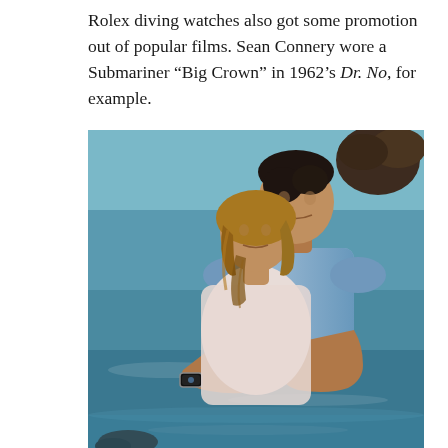Rolex diving watches also got some promotion out of popular films. Sean Connery wore a Submariner “Big Crown” in 1962’s Dr. No, for example.
[Figure (photo): A color photograph from the 1962 James Bond film Dr. No showing Sean Connery (as James Bond) in a light blue polo shirt standing behind a blonde woman in a white top, both standing in shallow water with a tropical background.]